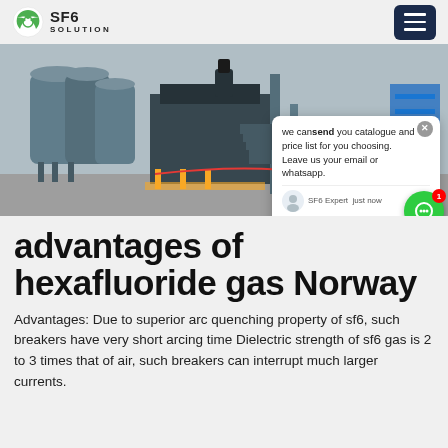SF6 SOLUTION
[Figure (photo): Industrial electrical substation equipment with large cylindrical tanks, metal structures, and workers in hard hats visible in the background. A chat popup overlay appears on the right side showing: 'we can send you catalogue and price list for you choosing. Leave us your email or whatsapp.' with SF6 Expert - just now, and Write options.]
advantages of hexafluoride gas Norway
Advantages: Due to superior arc quenching property of sf6, such breakers have very short arcing time Dielectric strength of sf6 gas is 2 to 3 times that of air, such breakers can interrupt much larger currents.